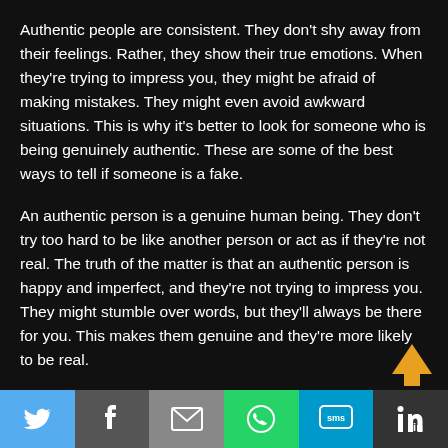Authentic people are consistent. They don't shy away from their feelings. Rather, they show their true emotions. When they're trying to impress you, they might be afraid of making mistakes. They might even avoid awkward situations. This is why it's better to look for someone who is being genuinely authentic. These are some of the best ways to tell if someone is a fake.
An authentic person is a genuine human being. They don't try too hard to be like another person or act as if they're not real. The truth of the matter is that an authentic person is happy and imperfect, and they're not trying to impress you. They might stumble over words, but they'll always be there for you. This makes them genuine and they're more likely to be real.
[Figure (infographic): Social sharing footer bar with icons for Twitter (blue), Facebook (dark grey), Email (grey), WhatsApp (green), SMS (blue), LinkedIn (dark grey)]